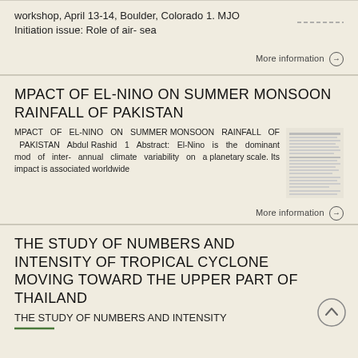workshop, April 13-14, Boulder, Colorado 1. MJO Initiation issue: Role of air- sea
More information →
MPACT OF EL-NINO ON SUMMER MONSOON RAINFALL OF PAKISTAN
MPACT OF EL-NINO ON SUMMER MONSOON RAINFALL OF PAKISTAN Abdul Rashid 1 Abstract: El-Nino is the dominant mod of inter- annual climate variability on a planetary scale. Its impact is associated worldwide
[Figure (screenshot): Thumbnail image of a document page]
More information →
THE STUDY OF NUMBERS AND INTENSITY OF TROPICAL CYCLONE MOVING TOWARD THE UPPER PART OF THAILAND
THE STUDY OF NUMBERS AND INTENSITY